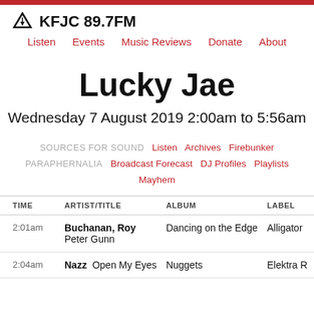KFJC 89.7FM — Listen | Events | Music Reviews | Donate | About
Lucky Jae
Wednesday 7 August 2019 2:00am to 5:56am
SOURCES FOR SOUND  Listen  Archives  Firebunker  PARAPHERNALIA  Broadcast Forecast  DJ Profiles  Playlists  Mayhem
| TIME | ARTIST/TITLE | ALBUM | LABEL |
| --- | --- | --- | --- |
| 2:01am | Buchanan, Roy  Peter Gunn | Dancing on the Edge | Alligator |
| 2:04am | Nazz  Open My Eyes | Nuggets | Elektra R |